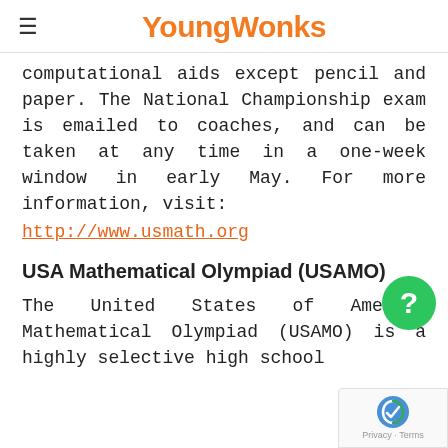YoungWonks
computational aids except pencil and paper. The National Championship exam is emailed to coaches, and can be taken at any time in a one-week window in early May. For more information, visit:
http://www.usmath.org
USA Mathematical Olympiad (USAMO)
The United States of America Mathematical Olympiad (USAMO) is a highly selective high school